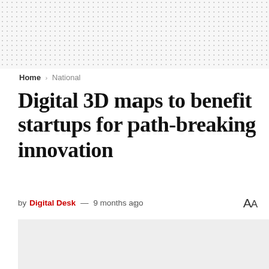[Figure (other): Dotted pattern decorative background header area]
Home › National
Digital 3D maps to benefit startups for path-breaking innovation
by Digital Desk — 9 months ago  AA
[Figure (photo): Light grey image placeholder rectangle]